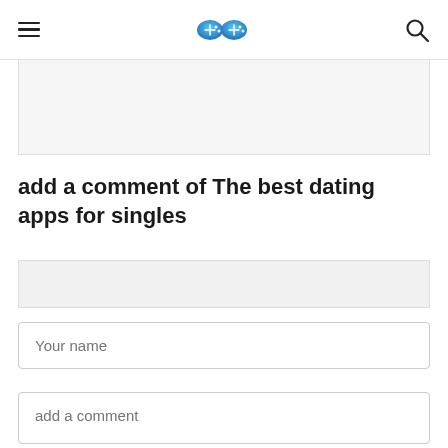[hamburger menu] [game controller logo] [search icon]
[Figure (screenshot): Gray content area placeholder box]
add a comment of The best dating apps for singles
[Figure (screenshot): Light gray tab bar]
Your name
add a comment